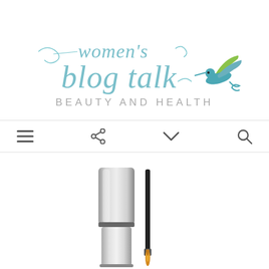[Figure (logo): Women's Blog Talk Beauty and Health logo with cursive script text and a hummingbird illustration in blue, teal and yellow-green colors]
[Figure (screenshot): Navigation bar with hamburger menu icon, share icon, chevron/dropdown icon, and search icon]
[Figure (photo): Beauty product image showing a silver cylindrical eyeliner container and a thin makeup brush with orange tip on white background]